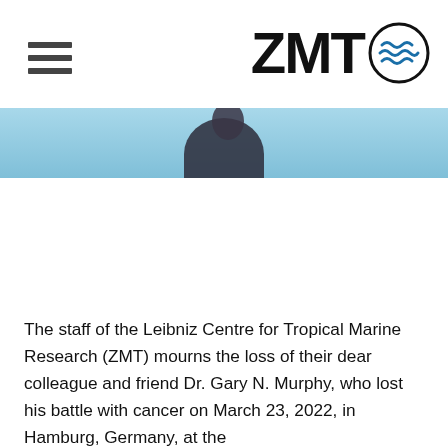EN
[Figure (logo): ZMT logo with hamburger menu icon on the left and ZMT text with wave icon on the right]
[Figure (photo): Partial photo strip showing a person against a blue sky background, cropped at top of page]
The staff of the Leibniz Centre for Tropical Marine Research (ZMT) mourns the loss of their dear colleague and friend Dr. Gary N. Murphy, who lost his battle with cancer on March 23, 2022, in Hamburg, Germany, at the